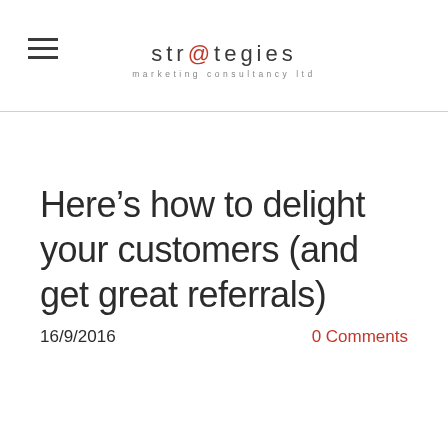str@tegies marketing consultancy ltd
Here’s how to delight your customers (and get great referrals)
16/9/2016
0 Comments